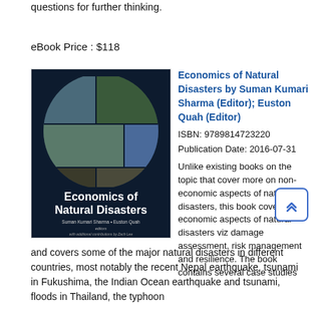questions for further thinking.
eBook Price : $118
[Figure (photo): Book cover of 'Economics of Natural Disasters' showing a circular collage of disaster images on dark background, with title and authors Suman Kumari Sharma and Euston Quah, published by World Scientific]
Economics of Natural Disasters by Suman Kumari Sharma (Editor); Euston Quah (Editor)
ISBN: 9789814723220
Publication Date: 2016-07-31
Unlike existing books on the topic that cover more on non-economic aspects of natural disasters, this book covers economic aspects of natural disasters viz damage assessment, risk management and resilience. The book contains several case studies and covers some of the major natural disasters in different countries, most notably the recent Nepal earthquake, tsunami in Fukushima, the Indian Ocean earthquake and tsunami, floods in Thailand, the typhoon